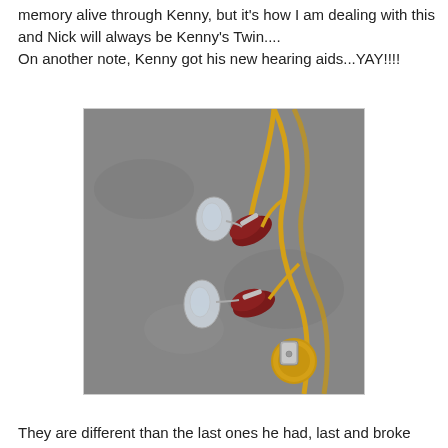memory alive through Kenny, but it's how I am dealing with this and Nick will always be Kenny's Twin....
On another note, Kenny got his new hearing aids...YAY!!!!
[Figure (photo): A photograph of hearing aids — two behind-the-ear devices with dark red/maroon casings, clear ear molds, connected by a yellow/gold lanyard cord with a circular yellow device at the bottom, all laid out on a gray concrete surface.]
They are different than the last ones he had, last and broke